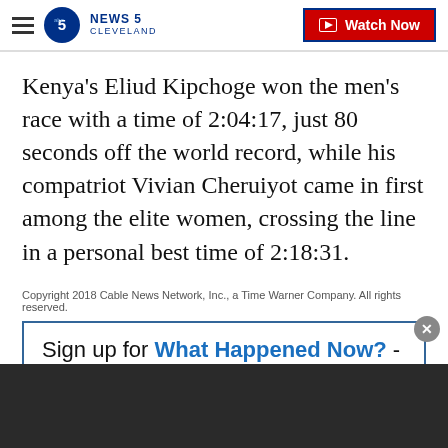NEWS 5 CLEVELAND | Watch Now
Kenya's Eliud Kipchoge won the men's race with a time of 2:04:17, just 80 seconds off the world record, while his compatriot Vivian Cheruiyot came in first among the elite women, crossing the line in a personal best time of 2:18:31.
Copyright 2018 Cable News Network, Inc., a Time Warner Company. All rights reserved.
Sign up for What Happened Now? - a daily